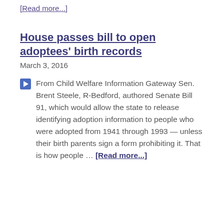[Read more...]
House passes bill to open adoptees' birth records
March 3, 2016
From Child Welfare Information Gateway Sen. Brent Steele, R-Bedford, authored Senate Bill 91, which would allow the state to release identifying adoption information to people who were adopted from 1941 through 1993 — unless their birth parents sign a form prohibiting it. That is how people … [Read more...]